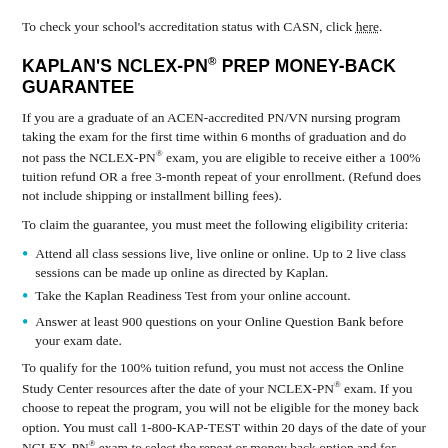To check your school's accreditation status with CASN, click here.
KAPLAN'S NCLEX-PN® PREP MONEY-BACK GUARANTEE
If you are a graduate of an ACEN-accredited PN/VN nursing program taking the exam for the first time within 6 months of graduation and do not pass the NCLEX-PN® exam, you are eligible to receive either a 100% tuition refund OR a free 3-month repeat of your enrollment. (Refund does not include shipping or installment billing fees).
To claim the guarantee, you must meet the following eligibility criteria:
Attend all class sessions live, live online or online. Up to 2 live class sessions can be made up online as directed by Kaplan.
Take the Kaplan Readiness Test from your online account.
Answer at least 900 questions on your Online Question Bank before your exam date.
To qualify for the 100% tuition refund, you must not access the Online Study Center resources after the date of your NCLEX-PN® exam. If you choose to repeat the program, you will not be eligible for the money back option. You must call 1-800-KAP-TEST within 20 days of the date of your NCLEX-PN® exam to select the repeat or money back option and for further instructions...